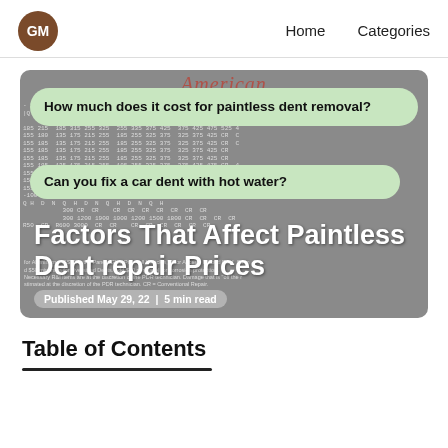GM | Home | Categories
[Figure (screenshot): Hero image showing a PDR pricing table in the background with two green speech bubbles asking 'How much does it cost for paintless dent removal?' and 'Can you fix a car dent with hot water?', overlaid with bold white text 'Factors That Affect Paintless Dent repair Prices' and a published metadata tag 'Published May 29, 22 | 5 min read']
Table of Contents